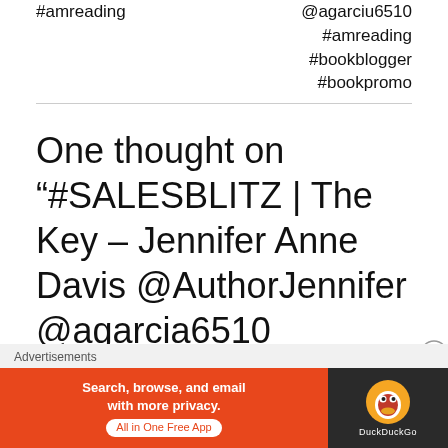#amreading
@agarciu6510
#amreading
#bookblogger
#bookpromo
One thought on “#SALESBLITZ | The Key – Jennifer Anne Davis @AuthorJennifer @agarcia6510 #amreading #bookblogger #bookpromo”
Advertisements
[Figure (screenshot): DuckDuckGo advertisement banner: orange left side with text 'Search, browse, and email with more privacy. All in One Free App', dark right side with DuckDuckGo logo]